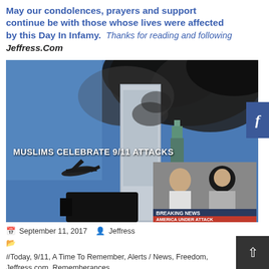May our condolences, prayers and support continue be with those whose lives were affected by this Day In Infamy.  Thanks for reading and following Jeffress.Com
[Figure (photo): Photo of 9/11 World Trade Center attack with smoke billowing from towers, an airplane visible, and an inset news image showing people with text 'MUSLIMS CELEBRATE 9/11 ATTACKS' and a 'BREAKING NEWS - AMERICA UNDER ATTACK' chyron]
September 11, 2017   Jeffress
#Today, 9/11, A Time To Remember, Alerts / News, Freedom, Jeffress.com, Rememberances  #9/11, #A Date That Will Live In Infamy, #Attack, #World Trade Center